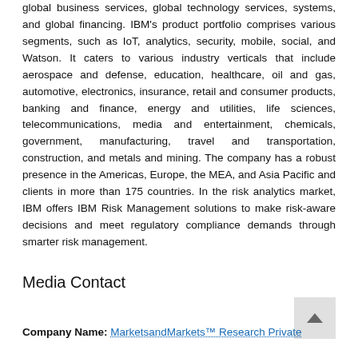global business services, global technology services, systems, and global financing. IBM's product portfolio comprises various segments, such as IoT, analytics, security, mobile, social, and Watson. It caters to various industry verticals that include aerospace and defense, education, healthcare, oil and gas, automotive, electronics, insurance, retail and consumer products, banking and finance, energy and utilities, life sciences, telecommunications, media and entertainment, chemicals, government, manufacturing, travel and transportation, construction, and metals and mining. The company has a robust presence in the Americas, Europe, the MEA, and Asia Pacific and clients in more than 175 countries. In the risk analytics market, IBM offers IBM Risk Management solutions to make risk-aware decisions and meet regulatory compliance demands through smarter risk management.
Media Contact
Company Name: MarketsandMarkets™ Research Private